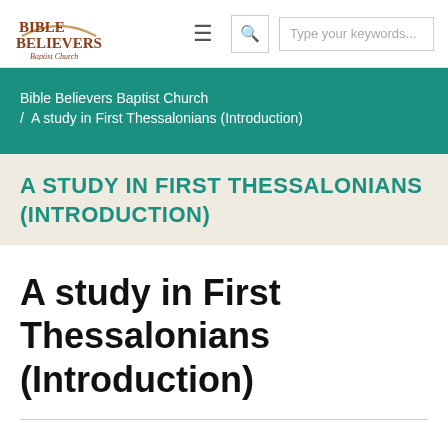Bible Believers Baptist Church — navigation bar with logo, hamburger menu, search icon and search input
Bible Believers Baptist Church
/ A study in First Thessalonians (Introduction)
A STUDY IN FIRST THESSALONIANS (INTRODUCTION)
A study in First Thessalonians (Introduction)